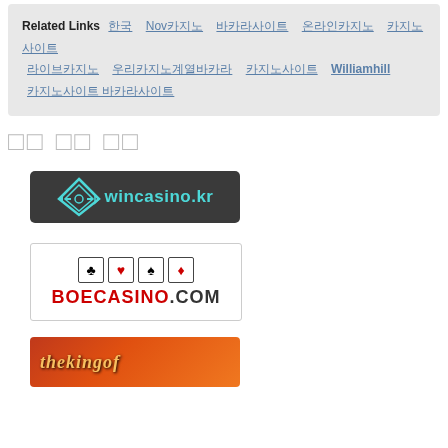Related Links  Nov  Williamhill
관련 사이트 링크
[Figure (logo): wincasino.kr logo - dark grey background with cyan diamond/arrow icon and cyan text]
[Figure (logo): BOECASINO.COM logo - card suit symbols (club, heart, spade, diamond) above BOECASINO.COM text in red and black]
[Figure (logo): thekingof logo - partially visible orange/gradient banner with italic text]